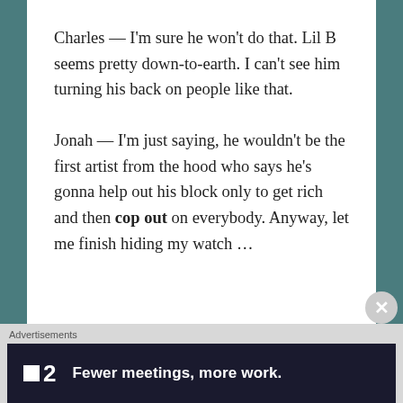Charles — I'm sure he won't do that. Lil B seems pretty down-to-earth. I can't see him turning his back on people like that.
Jonah — I'm just saying, he wouldn't be the first artist from the hood who says he's gonna help out his block only to get rich and then cop out on everybody. Anyway, let me finish hiding my watch …
Advertisements ■2 Fewer meetings, more work.